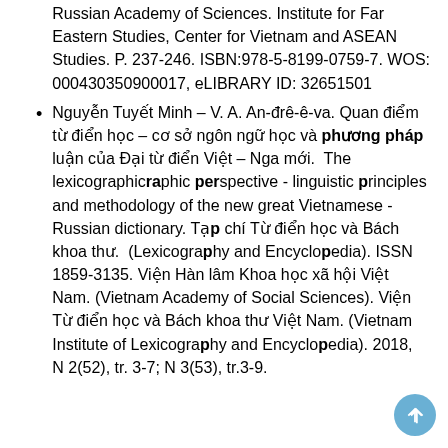Russian Academy of Sciences. Institute for Far Eastern Studies, Center for Vietnam and ASEAN Studies. P. 237-246. ISBN:978-5-8199-0759-7. WOS: 000430350900017, eLIBRARY ID: 32651501
Nguyễn Tuyết Minh – V. A. An-đrê-ê-va. Quan điểm từ điển học – cơ sở ngôn ngữ học và phương pháp luận của Đại từ điển Việt – Nga mới. The lexicographic perspective - linguistic principles and methodology of the new great Vietnamese - Russian dictionary. Tạp chí Từ điển học và Bách khoa thư. (Lexicography and Encyclopedia). ISSN 1859-3135. Viện Hàn lâm Khoa học xã hội Việt Nam. (Vietnam Academy of Social Sciences). Viện Từ điển học và Bách khoa thư Việt Nam. (Vietnam Institute of Lexicography and Encyclopedia). 2018, N 2(52), tr. 3-7; N 3(53), tr.3-9.